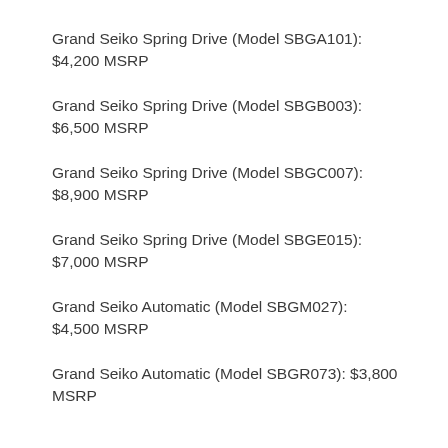Grand Seiko Spring Drive (Model SBGA101): $4,200 MSRP
Grand Seiko Spring Drive (Model SBGB003): $6,500 MSRP
Grand Seiko Spring Drive (Model SBGC007): $8,900 MSRP
Grand Seiko Spring Drive (Model SBGE015): $7,000 MSRP
Grand Seiko Automatic (Model SBGM027): $4,500 MSRP
Grand Seiko Automatic (Model SBGR073): $3,800 MSRP